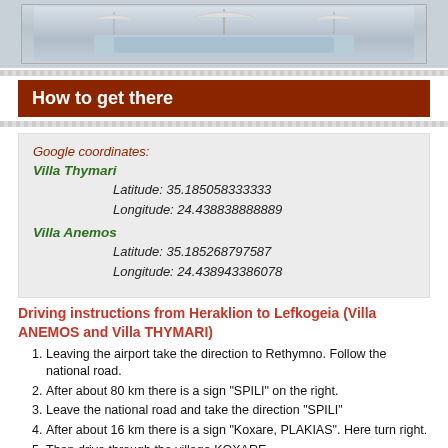[Figure (photo): Photo of villa/pool area, partially visible at top of page]
How to get there
Google coordinates:
Villa Thymari
Latitude: 35.185058333333
Longitude: 24.438838888889
Villa Anemos
Latitude: 35.185268797587
Longitude: 24.438943386078
Driving instructions from Heraklion to Lefkogeia (Villa ANEMOS and Villa THYMARI)
Leaving the airport take the direction to Rethymno. Follow the national road.
After about 80 km there is a sign "SPILI" on the right.
Leave the national road and take the direction "SPILI"
After about 16 km there is a sign "Koxare, PLAKIAS". Here turn right.
Then drive through the village KOXARE...